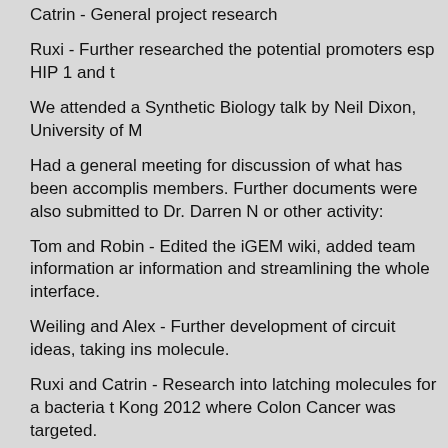Catrin - General project research
Ruxi - Further researched the potential promoters esp HIP 1 and t
We attended a Synthetic Biology talk by Neil Dixon, University of M
Had a general meeting for discussion of what has been accomplis members. Further documents were also submitted to Dr. Darren N or other activity:
Tom and Robin - Edited the iGEM wiki, added team information ar information and streamlining the whole interface.
Weiling and Alex - Further development of circuit ideas, taking ins molecule.
Ruxi and Catrin - Research into latching molecules for a bacteria t Kong 2012 where Colon Cancer was targeted.
14th June
Tom - Website design for: Main Page, UCL information, Team bas
Robin - Coding in HTML for website
Ruxi, Catrin, Weiling - Further investigation of Hong Kong 2010 to light activated promoter, how can the quorum sensing and CagA b
Alex - searched for potential bacterial receptor to be modified in